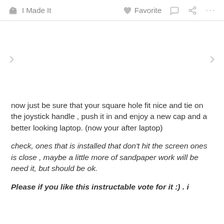I Made It   Favorite   ···
[Figure (photo): Image area with left and right navigation arrows, image placeholder area]
now just be sure that your square hole fit nice and tie on the joystick handle , push it in and enjoy a new cap and a better looking laptop. (now your after laptop)
check, ones that is installed that don't hit the screen ones is close , maybe a little more of sandpaper work will be need it, but should be ok.
Please if you like this instructable vote for it :) . i